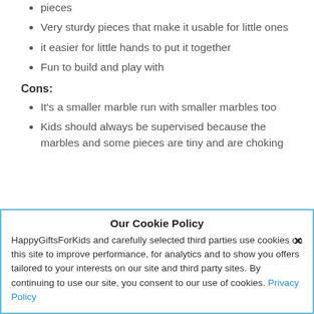pieces
Very sturdy pieces that make it usable for little ones
it easier for little hands to put it together
Fun to build and play with
Cons:
It's a smaller marble run with smaller marbles too
Kids should always be supervised because the marbles and some pieces are tiny and are choking
Our Cookie Policy
HappyGiftsForKids and carefully selected third parties use cookies on this site to improve performance, for analytics and to show you offers tailored to your interests on our site and third party sites. By continuing to use our site, you consent to our use of cookies. Privacy Policy